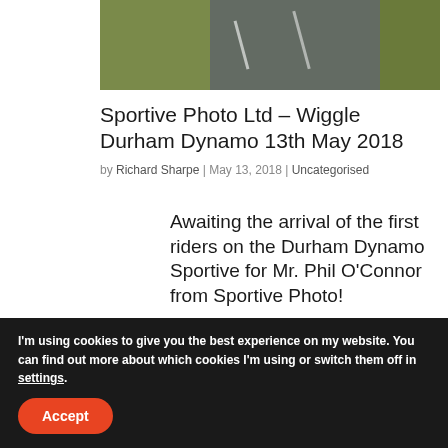[Figure (photo): Aerial or road-level photograph of a road/cycling route, with road surface visible and green grass/vegetation on the sides]
Sportive Photo Ltd – Wiggle Durham Dynamo 13th May 2018
by Richard Sharpe | May 13, 2018 | Uncategorised
Awaiting the arrival of the first riders on the Durham Dynamo Sportive for Mr. Phil O'Connor from Sportive Photo!
I'm using cookies to give you the best experience on my website. You can find out more about which cookies I'm using or switch them off in settings.
Accept